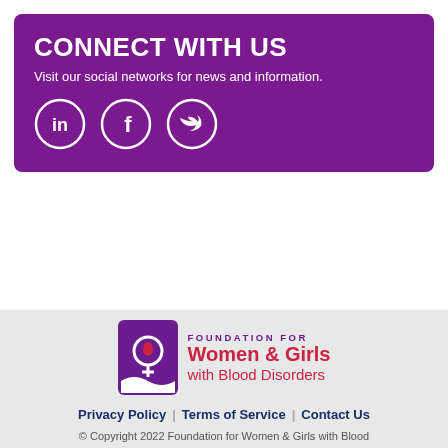CONNECT WITH US
Visit our social networks for news and information.
[Figure (infographic): Three social media icons in white circles on purple background: LinkedIn, Facebook, Twitter]
[Figure (logo): Foundation for Women & Girls with Blood Disorders logo — purple rectangle with female symbol and blood drop, text to the right]
Privacy Policy  |  Terms of Service  |  Contact Us
© Copyright 2022 Foundation for Women & Girls with Blood